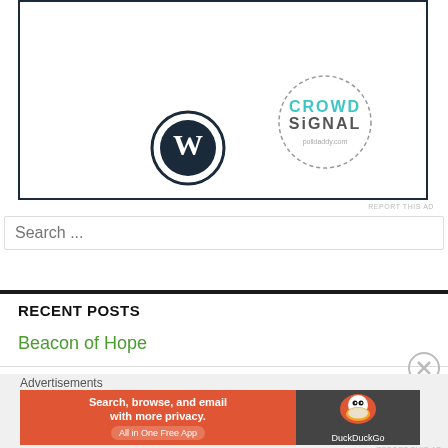[Figure (other): Advertisement box showing WordPress logo and Crowdsignal logo inside a dark-bordered rectangle]
REPORT THIS AD
Search ...
RECENT POSTS
Beacon of Hope
Advertisements
[Figure (other): DuckDuckGo advertisement banner: Search, browse, and email with more privacy. All in One Free App]
REPORT THIS AD